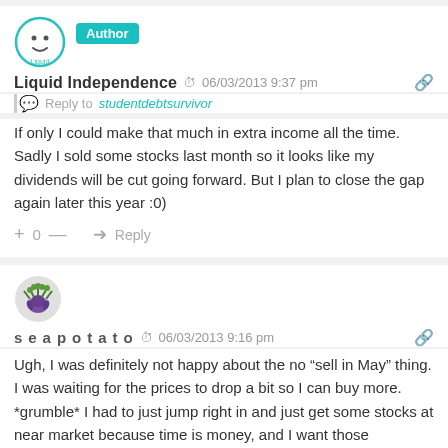Liquid Independence  06/03/2013 9:37 pm
Reply to studentdebtsurvivor
If only I could make that much in extra income all the time. Sadly I sold some stocks last month so it looks like my dividends will be cut going forward. But I plan to close the gap again later this year :0)
+ 0 —  Reply
seapotato  06/03/2013 9:16 pm
Ugh, I was definitely not happy about the no “sell in May” thing. I was waiting for the prices to drop a bit so I can buy more. *grumble* I had to just jump right in and just get some stocks at near market because time is money, and I want those dividends! Great job on your income!